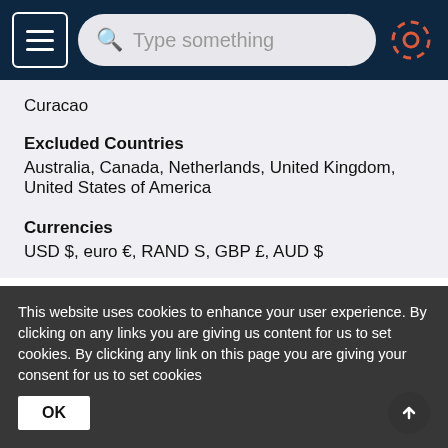[Figure (screenshot): Mobile app navigation bar with hamburger menu button, search bar with 'Type something' placeholder, and settings/gear icon on dark navy background]
Curacao
Excluded Countries
Australia, Canada, Netherlands, United Kingdom, United States of America
Currencies
USD $, euro €, RAND S, GBP £, AUD $
This website uses cookies to enhance your user experience. By clicking on any links you are giving us content for us to set cookies. By clicking any link on this page you are giving your consent for us to set cookies